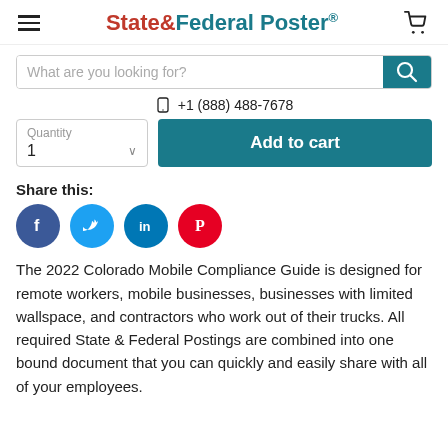State&Federal Poster®
What are you looking for?
+1 (888) 488-7678
Quantity 1
Add to cart
Share this:
[Figure (illustration): Social media share icons: Facebook (blue circle), Twitter (blue circle), LinkedIn (blue circle), Pinterest (red circle)]
The 2022 Colorado Mobile Compliance Guide is designed for remote workers, mobile businesses, businesses with limited wallspace, and contractors who work out of their trucks. All required State & Federal Postings are combined into one bound document that you can quickly and easily share with all of your employees.